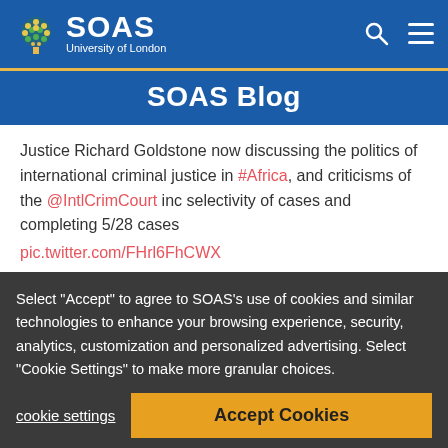SOAS University of London
SOAS Blog
Justice Richard Goldstone now discussing the politics of international criminal justice in #Africa, and criticisms of the @IntlCrimCourt inc selectivity of cases and completing 5/28 cases pic.twitter.com/FHrl6FhCWX
— SOAS Centre for International Studies and Diplomacy (@soas_cisd) June 18, 2019
Justice Goldstone debunked the decade-long myth that the ICC is biased against Africa. Of the 28 cases that are subjected to ICC tribunals, only three were the result of
Select "Accept" to agree to SOAS's use of cookies and similar technologies to enhance your browsing experience, security, analytics, customization and personalized advertising. Select "Cookie Settings" to make more granular choices.
cookie settings
Accept Cookies